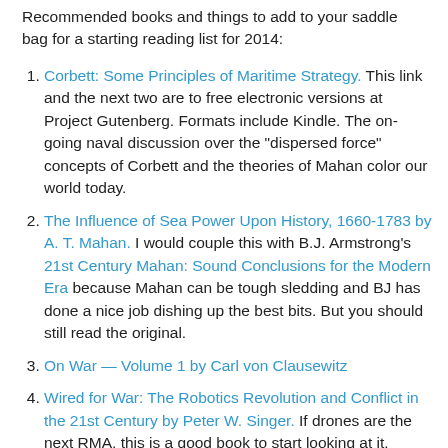Recommended books and things to add to your saddle bag for a starting reading list for 2014:
Corbett: Some Principles of Maritime Strategy. This link and the next two are to free electronic versions at Project Gutenberg. Formats include Kindle. The on-going naval discussion over the "dispersed force" concepts of Corbett and the theories of Mahan color our world today.
The Influence of Sea Power Upon History, 1660-1783 by A. T. Mahan. I would couple this with B.J. Armstrong's 21st Century Mahan: Sound Conclusions for the Modern Era because Mahan can be tough sledding and BJ has done a nice job dishing up the best bits. But you should still read the original.
On War — Volume 1 by Carl von Clausewitz
Wired for War: The Robotics Revolution and Conflict in the 21st Century by Peter W. Singer. If drones are the next RMA, this is a good book to start looking at it.
The Guns of August by Barbara Tuchman. If you ever want to study how back into a war, this is a great read.
The Zimmermann Telegram by Barbara Tuchman...